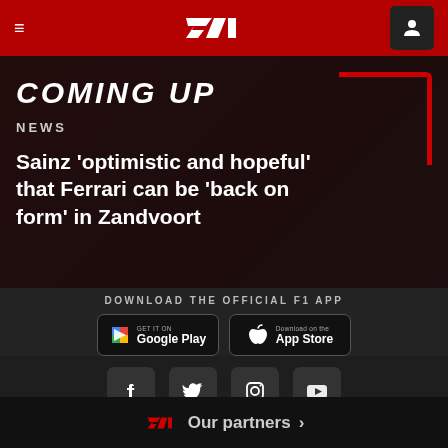F1 Navigation Header
COMING UP
NEWS
Sainz 'optimistic and hopeful' that Ferrari can be 'back on form' in Zandvoort
DOWNLOAD THE OFFICIAL F1 APP
[Figure (logo): Google Play Store button]
[Figure (logo): Apple App Store button]
[Figure (infographic): Social media icons: Facebook, Twitter, Instagram, YouTube]
[Figure (logo): F1 logo with Our partners text and chevron]